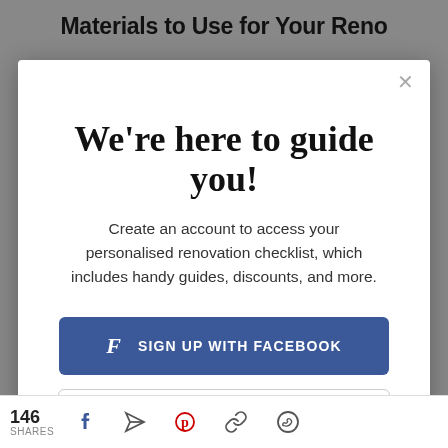Materials to Use for Your Reno
We're here to guide you!
Create an account to access your personalised renovation checklist, which includes handy guides, discounts, and more.
[Figure (screenshot): Sign up with Facebook button (blue, rounded rectangle)]
[Figure (screenshot): Sign up with Email button (white, rounded rectangle with border)]
Have an account? Login
146 SHARES [Facebook] [Share] [Pinterest] [Link] [WhatsApp]